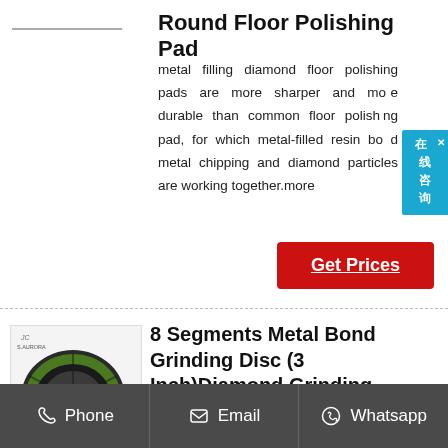Round Floor Polishing Pad
metal filling diamond floor polishing pads are more sharper and more durable than common floor polishing pad, for which metal-filled resin bond metal chipping and diamond particles are working together.more
[Figure (other): Red 'Get Prices' button]
[Figure (photo): Product image of S.AURORA 8 Segments Metal Bond Grinding Disc (3 Inch) showing a green and grey disc]
8 Segments Metal Bond Grinding Disc (3 Inch)Diamond Grinding
cutting of the cream of the concrete. ...
Phone   Email   Whatsapp